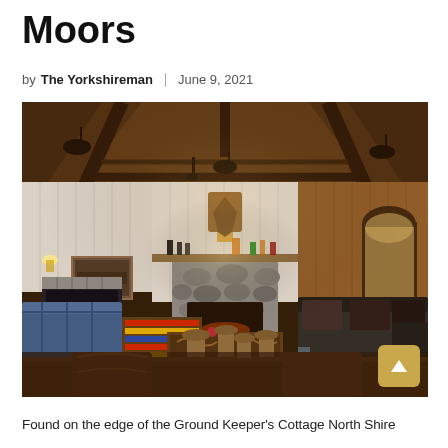Moors
by The Yorkshireman | June 9, 2021
[Figure (photo): Interior of a rustic cottage living room with wooden beams, stone fireplace, tartan sofas, hanging pots, and a wooden dining table in the foreground. Warm atmospheric lighting.]
Found on the edge of the Ground Keeper's Cottage North Shire